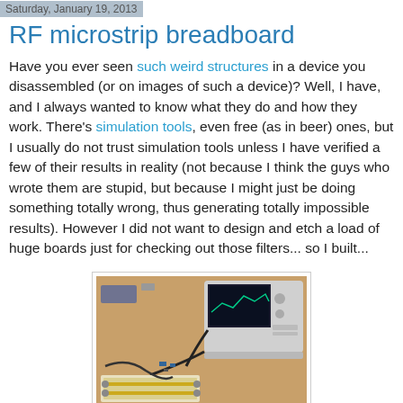Saturday, January 19, 2013
RF microstrip breadboard
Have you ever seen such weird structures in a device you disassembled (or on images of such a device)? Well, I have, and I always wanted to know what they do and how they work. There's simulation tools, even free (as in beer) ones, but I usually do not trust simulation tools unless I have verified a few of their results in reality (not because I think the guys who wrote them are stupid, but because I might just be doing something totally wrong, thus generating totally impossible results). However I did not want to design and etch a load of huge boards just for checking out those filters... so I built...
[Figure (photo): Lab workbench photo showing a spectrum analyzer connected via coaxial cables to a PCB microstrip breadboard on a wooden table, with various components and tools visible.]